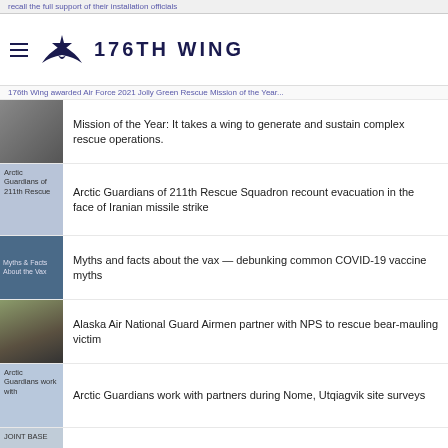176TH WING
176th Wing awarded Air Force 2021 Jolly Green Rescue Mission of the Year: It takes a wing to generate and sustain complex rescue operations.
Arctic Guardians of 211th Rescue Squadron recount evacuation in the face of Iranian missile strike
Myths and facts about the vax — debunking common COVID-19 vaccine myths
Alaska Air National Guard Airmen partner with NPS to rescue bear-mauling victim
Arctic Guardians work with partners during Nome, Utqiagvik site surveys
Alaska National Guard assists Commissary in serving